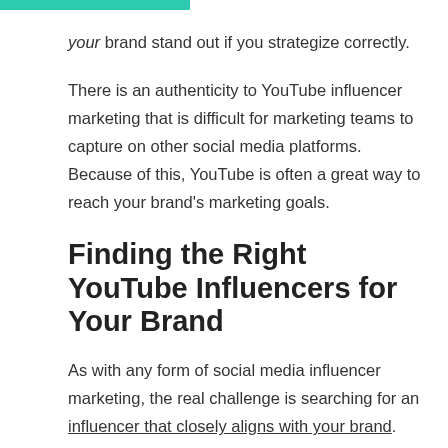your brand stand out if you strategize correctly.
There is an authenticity to YouTube influencer marketing that is difficult for marketing teams to capture on other social media platforms. Because of this, YouTube is often a great way to reach your brand's marketing goals.
Finding the Right YouTube Influencers for Your Brand
As with any form of social media influencer marketing, the real challenge is searching for an influencer that closely aligns with your brand. Though YouTube is beneficial because it allows for lengthier content, it can often pose a challenge to marketing teams as they